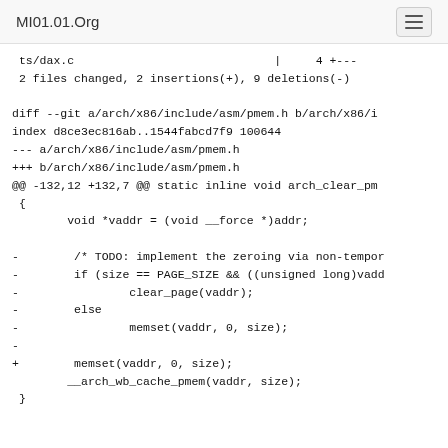MI01.01.Org
ts/dax.c                             |     4 +---
 2 files changed, 2 insertions(+), 9 deletions(-)

diff --git a/arch/x86/include/asm/pmem.h b/arch/x86/i
index d8ce3ec816ab..1544fabcd7f9 100644
--- a/arch/x86/include/asm/pmem.h
+++ b/arch/x86/include/asm/pmem.h
@@ -132,12 +132,7 @@ static inline void arch_clear_pm
 {
        void *vaddr = (void __force *)addr;

-        /* TODO: implement the zeroing via non-tempor
-        if (size == PAGE_SIZE && ((unsigned long)vadd
-                clear_page(vaddr);
-        else
-                memset(vaddr, 0, size);
-
+        memset(vaddr, 0, size);
        __arch_wb_cache_pmem(vaddr, size);
 }